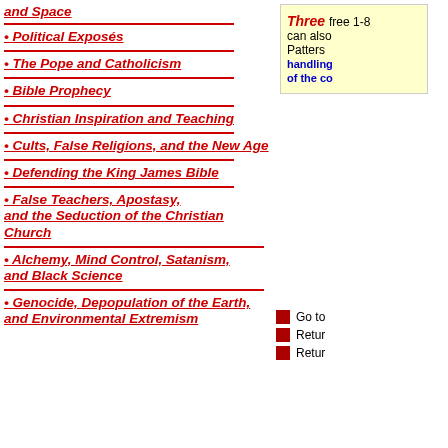• and Space
• Political Exposés
• The Pope and Catholicism
• Bible Prophecy
• Christian Inspiration and Teaching
• Cults, False Religions, and the New Age
• Defending the King James Bible
• False Teachers, Apostasy, and the Seduction of the Christian Church
• Alchemy, Mind Control, Satanism, and Black Science
• Genocide, Depopulation of the Earth, and Environmental Extremism
Three free 1-8 can also Patters handling of the co
Go to Return Return